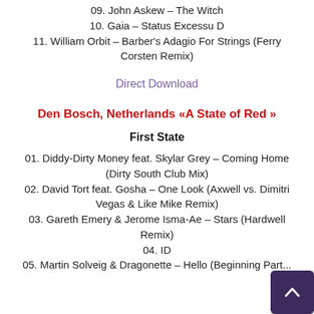09. John Askew – The Witch
10. Gaia – Status Excessu D
11. William Orbit – Barber's Adagio For Strings (Ferry Corsten Remix)
Direct Download
Den Bosch, Netherlands «A State of Red »
First State
01. Diddy-Dirty Money feat. Skylar Grey – Coming Home (Dirty South Club Mix)
02. David Tort feat. Gosha – One Look (Axwell vs. Dimitri Vegas & Like Mike Remix)
03. Gareth Emery & Jerome Isma-Ae – Stars (Hardwell Remix)
04. ID
05. Martin Solveig & Dragonette – Hello (Beginning Part...